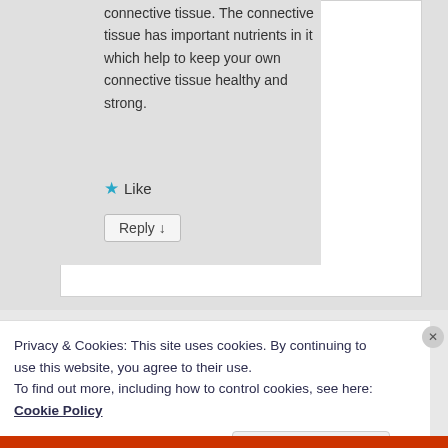connective tissue. The connective tissue has important nutrients in it which help to keep your own connective tissue healthy and strong.
★ Like
Reply ↓
Privacy & Cookies: This site uses cookies. By continuing to use this website, you agree to their use.
To find out more, including how to control cookies, see here: Cookie Policy
Close and accept